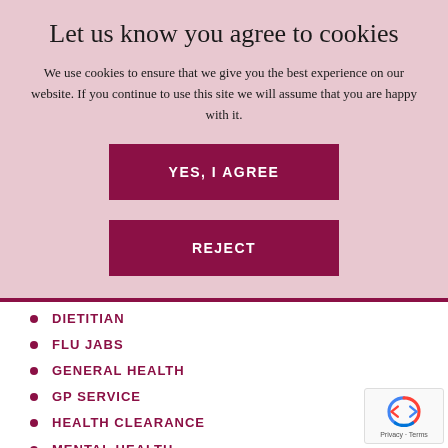Let us know you agree to cookies
We use cookies to ensure that we give you the best experience on our website. If you continue to use this site we will assume that you are happy with it.
DIETITIAN
FLU JABS
GENERAL HEALTH
GP SERVICE
HEALTH CLEARANCE
MENTAL HEALTH
NEWS
OCCUPATIONAL HEALTH